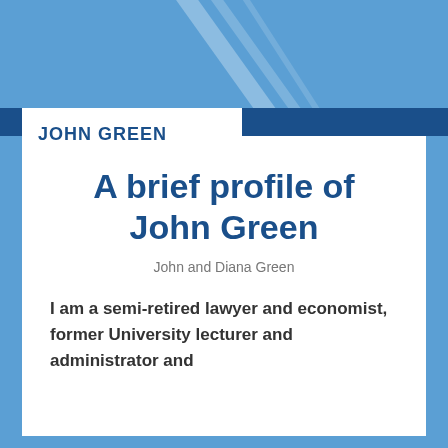JOHN GREEN
A brief profile of John Green
John and Diana Green
I am a semi-retired lawyer and economist, former University lecturer and administrator and